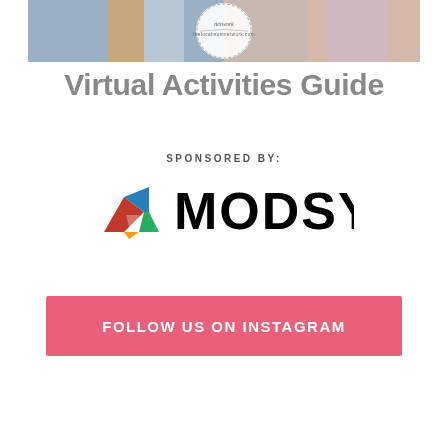[Figure (photo): Banner photo showing people doing crafts and working on a laptop, with thelocalmomnetwork.com badge/seal in the center]
Virtual Activities Guide
SPONSORED BY:
[Figure (logo): Modsy logo: colorful geometric heart shape on left, bold black text MODSY on right]
FOLLOW US ON INSTAGRAM